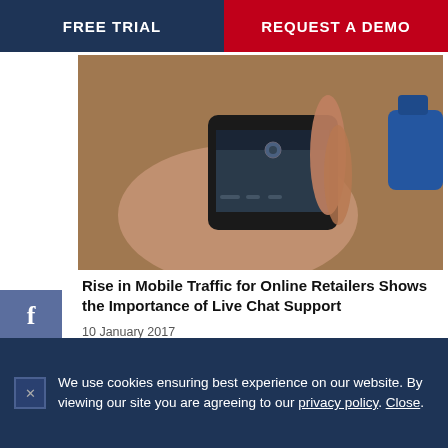FREE TRIAL | REQUEST A DEMO
[Figure (photo): Hand holding a smartphone, photographing food]
Rise in Mobile Traffic for Online Retailers Shows the Importance of Live Chat Support
10 January 2017
[Figure (photo): Notebook with 'How To Add Live Chat to Website' handwritten, alongside a smartphone and tablet showing a live chat interface]
We use cookies ensuring best experience on our website. By viewing our site you are agreeing to our privacy policy. Close.